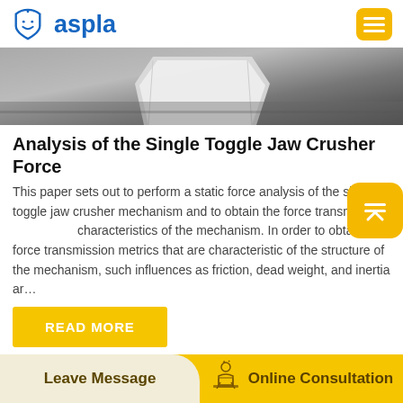[Figure (logo): Aspla logo with blue shield/face icon and blue text 'aspla', plus yellow hamburger menu button]
[Figure (photo): Partial photo of industrial machinery part (white metal component on dark concrete floor)]
Analysis of the Single Toggle Jaw Crusher Force
This paper sets out to perform a static force analysis of the single toggle jaw crusher mechanism and to obtain the force transmission characteristics of the mechanism. In order to obtain force transmission metrics that are characteristic of the structure of the mechanism, such influences as friction, dead weight, and inertia ar…
[Figure (other): Yellow rounded square button with white upward chevron/arrow icon (scroll to top)]
READ MORE
[Figure (photo): Partial photo of industrial interior with metal ductwork/pipes]
Leave Message
[Figure (illustration): Small icon of a person at a desk (online consultation icon)]
Online Consultation